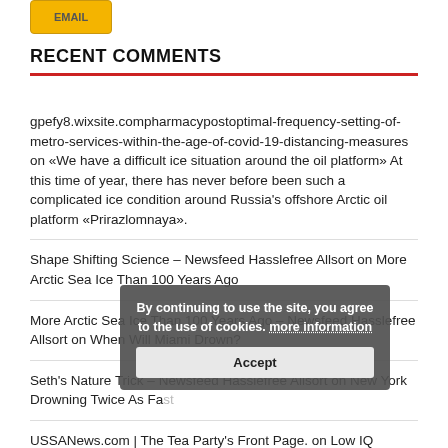[Figure (other): Yellow button graphic partially visible at top]
RECENT COMMENTS
gpefy8.wixsite.compharmacypostoptimal-frequency-setting-of-metro-services-within-the-age-of-covid-19-distancing-measures on «We have a difficult ice situation around the oil platform» At this time of year, there has never before been such a complicated ice condition around Russia's offshore Arctic oil platform «Prirazlomnaya».
Shape Shifting Science – Newsfeed Hasslefree Allsort on More Arctic Sea Ice Than 100 Years Ago
More Arctic Sea Ice Than 100 Years Ago – Newsfeed Hasslefree Allsort on When Will Miami Drown?
Seth's Nature Trick – Newsfeed Hasslefree Allsort on New York Drowning Twice As Fast
USSANews.com | The Tea Party's Front Page. on Low IQ muslim Inbreeding based on the ideology proves islam has the
By continuing to use the site, you agree to the use of cookies. more information
Accept